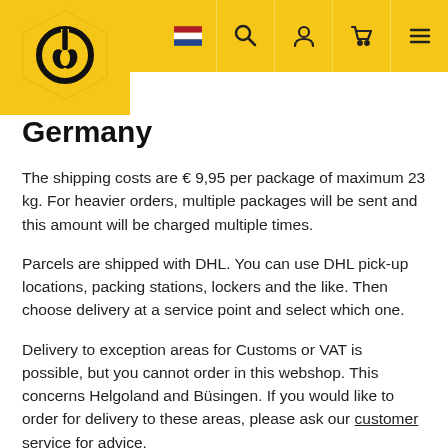Navigation header with logo, Dutch flag, search, account, cart, and menu icons
Germany
The shipping costs are € 9,95 per package of maximum 23 kg. For heavier orders, multiple packages will be sent and this amount will be charged multiple times.
Parcels are shipped with DHL. You can use DHL pick-up locations, packing stations, lockers and the like. Then choose delivery at a service point and select which one.
Delivery to exception areas for Customs or VAT is possible, but you cannot order in this webshop. This concerns Helgoland and Büsingen. If you would like to order for delivery to these areas, please ask our customer service for advice.